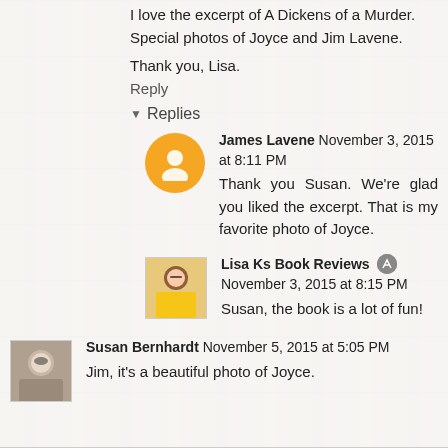I love the excerpt of A Dickens of a Murder. Special photos of Joyce and Jim Lavene.
Thank you, Lisa.
Reply
Replies
James Lavene November 3, 2015 at 8:11 PM
Thank you Susan. We're glad you liked the excerpt. That is my favorite photo of Joyce.
Lisa Ks Book Reviews November 3, 2015 at 8:15 PM
Susan, the book is a lot of fun!
Susan Bernhardt November 5, 2015 at 5:05 PM
Jim, it's a beautiful photo of Joyce.